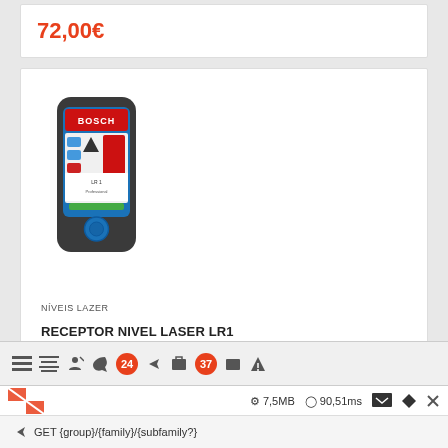72,00€
[Figure (photo): Bosch LR1 laser level receiver device, blue and black body with BOSCH branding, red display panel, control buttons, and green indicator]
NÍVEIS LAZER
RECEPTOR NIVEL LASER LR1
7,5MB  90,51ms  GET {group}/{family}/{subfamily?}